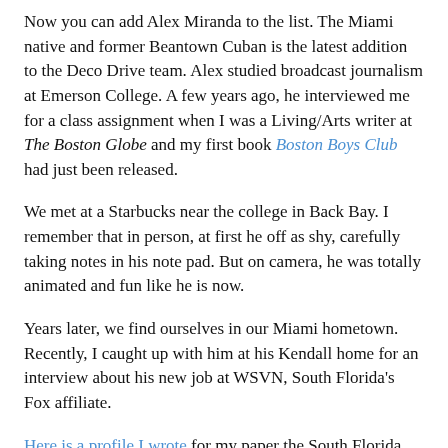Now you can add Alex Miranda to the list. The Miami native and former Beantown Cuban is the latest addition to the Deco Drive team. Alex studied broadcast journalism at Emerson College. A few years ago, he interviewed me for a class assignment when I was a Living/Arts writer at The Boston Globe and my first book Boston Boys Club had just been released.
We met at a Starbucks near the college in Back Bay. I remember that in person, at first he off as shy, carefully taking notes in his note pad. But on camera, he was totally animated and fun like he is now.
Years later, we find ourselves in our Miami hometown. Recently, I caught up with him at his Kendall home for an interview about his new job at WSVN, South Florida's Fox affiliate.
Here is a profile I wrote for my paper the South Florida Sun Sentinel about Alex, how he discovered his love of entertainment journalism in Miami and Boston and the places his career have taken him over the past 10 years.